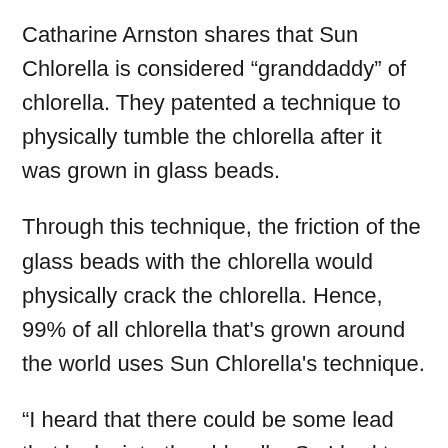Catharine Arnston shares that Sun Chlorella is considered “granddaddy” of chlorella. They patented a technique to physically tumble the chlorella after it was grown in glass beads.
Through this technique, the friction of the glass beads with the chlorella would physically crack the chlorella. Hence, 99% of all chlorella that's grown around the world uses Sun Chlorella's technique.
“I heard that there could be some lead that leaks into the chlorella. So I had to find another technique, and we did. It's new, modern, and more expensive,” reveals Catharine Arnston. “And that's what we use